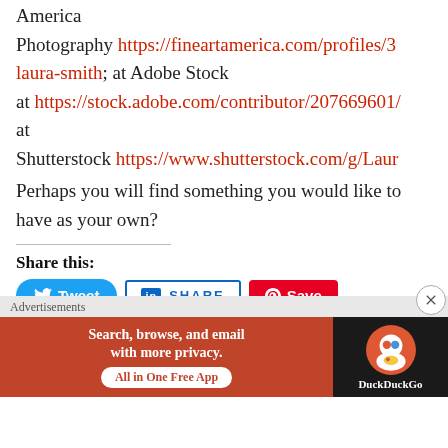America
Photography https://fineartamerica.com/profiles/3-laura-smith; at Adobe Stock at https://stock.adobe.com/contributor/207669601/ at Shutterstock https://www.shutterstock.com/g/Laur
Perhaps you will find something you would like to have as your own?
Share this:
[Figure (screenshot): Social share buttons: Tweet (Twitter/blue), SHARE (LinkedIn), Save (Pinterest/red), Email, Post (Tumblr/dark), WhatsApp]
[Figure (screenshot): Advertisement banner: DuckDuckGo app ad — 'Search, browse, and email with more privacy. All in One Free App']